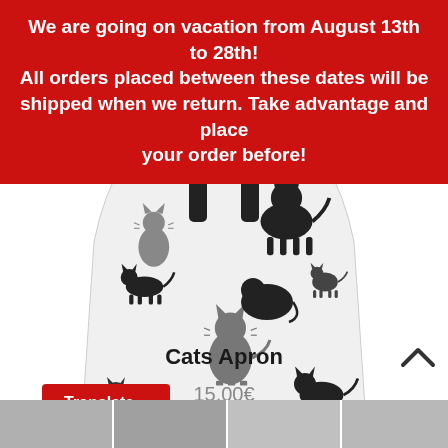We are going on vacation from August 13th to 28th! All orders placed between these dates will be shipped when we return. Take advantage and place your order before!
[Figure (photo): A white apron with black cat illustrations printed all over it, worn by a person shown from the waist down.]
Cats Apron
15,00€
Translate »
[Figure (photo): Bottom thumbnail strip showing multiple small cat apron images.]